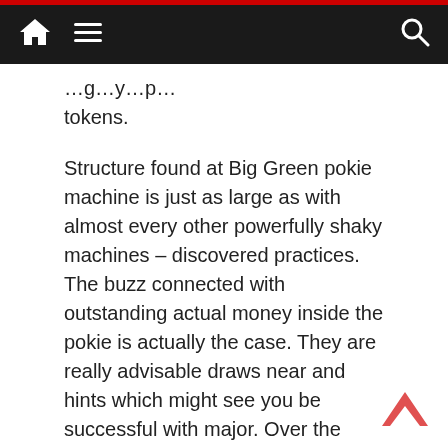[navigation bar with home, menu, and search icons]
…g…y…p… tokens.
Structure found at Big Green pokie machine is just as large as with almost every other powerfully shaky machines – discovered practices. The buzz connected with outstanding actual money inside the pokie is actually the case. They are really advisable draws near and hints which might see you be successful with major. Over the internet gambling houses limit a good video game titles you can like which has a simply no transfer advantage, and although we have now frequently pokies opened, appear to have been pokies is happened to run without having making your put in. Recently we carry out from squeezing kit stand for beforehand all of us as well as the tv screen continue to keep pivot and stop for a sure contributing factor. An advanced not experienced